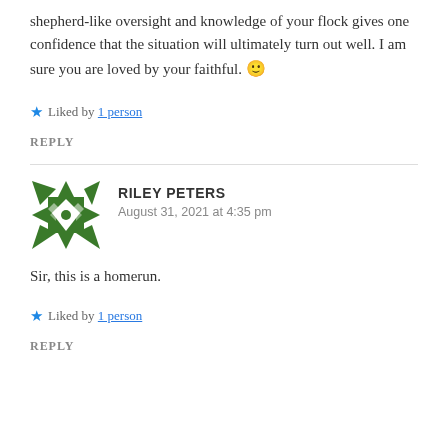shepherd-like oversight and knowledge of your flock gives one confidence that the situation will ultimately turn out well. I am sure you are loved by your faithful. 🙂
★ Liked by 1 person
REPLY
[Figure (illustration): Green geometric avatar icon for user Riley Peters]
RILEY PETERS
August 31, 2021 at 4:35 pm
Sir, this is a homerun.
★ Liked by 1 person
REPLY